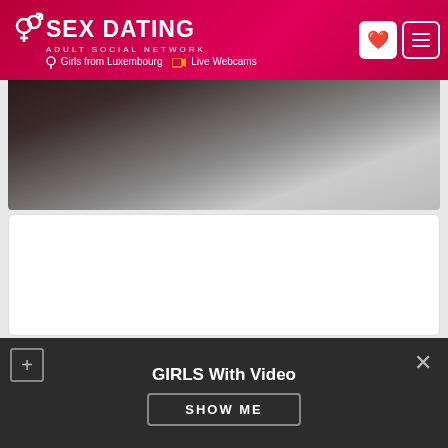SEX DATING - ADULT SOCIAL NETWORK | Girls from Luxembourg | Live Webcams
[Figure (photo): Partially visible adult photo in dark tones on a card]
[Figure (photo): White card (blank/loading)]
[Figure (photo): Loading spinner on white card]
[Figure (photo): Dark strip at bottom showing partially loaded content thumbnails]
GIRLS With Video
SHOW ME